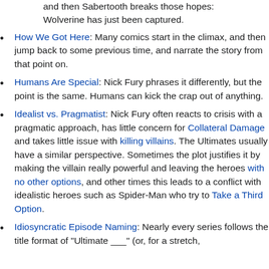and then Sabertooth breaks those hopes: Wolverine has just been captured.
How We Got Here: Many comics start in the climax, and then jump back to some previous time, and narrate the story from that point on.
Humans Are Special: Nick Fury phrases it differently, but the point is the same. Humans can kick the crap out of anything.
Idealist vs. Pragmatist: Nick Fury often reacts to crisis with a pragmatic approach, has little concern for Collateral Damage and takes little issue with killing villains. The Ultimates usually have a similar perspective. Sometimes the plot justifies it by making the villain really powerful and leaving the heroes with no other options, and other times this leads to a conflict with idealistic heroes such as Spider-Man who try to Take a Third Option.
Idiosyncratic Episode Naming: Nearly every series follows the title format of "Ultimate ___" (or, for a stretch,